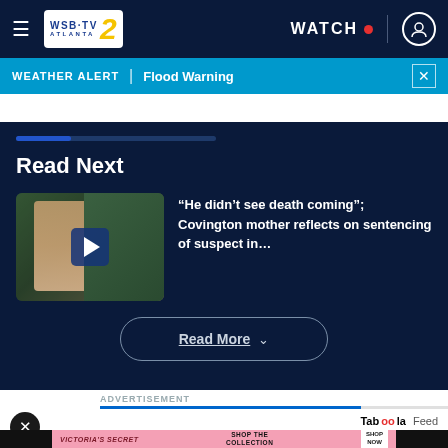WSB-TV 2 Atlanta | WATCH
WEATHER ALERT | Flood Warning
Read Next
[Figure (photo): Thumbnail image of a man with a play button overlay]
“He didn’t see death coming”; Covington mother reflects on sentencing of suspect in...
Read More
ADVERTISEMENT
Taboola Feed
[Figure (photo): Victoria's Secret advertisement banner: SHOP THE COLLECTION with SHOP NOW button]